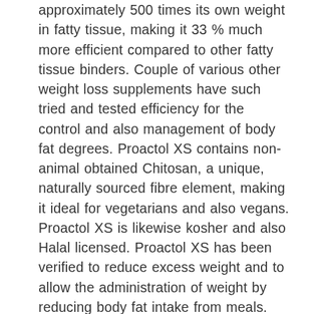approximately 500 times its own weight in fatty tissue, making it 33 % much more efficient compared to other fatty tissue binders. Couple of various other weight loss supplements have such tried and tested efficiency for the control and also management of body fat degrees. Proactol XS contains non-animal obtained Chitosan, a unique, naturally sourced fibre element, making it ideal for vegetarians and also vegans. Proactol XS is likewise kosher and also Halal licensed. Proactol XS has been verified to reduce excess weight and to allow the administration of weight by reducing body fat intake from meals. Proactol XS is also effective at improving your intestinal system.